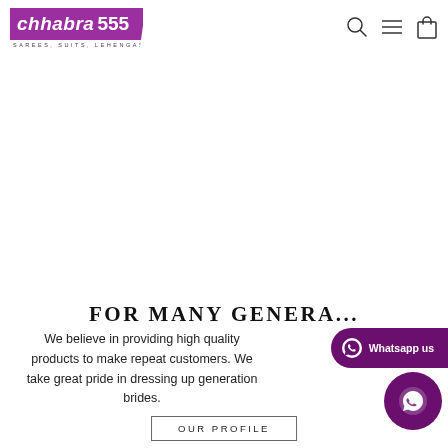[Figure (logo): Chhabra 555 logo — purple background with stylized text and tagline 'SAREES, SUITS, LEHENGAS']
[Figure (illustration): Navigation icons: search, hamburger menu, shopping bag]
FOR MANY GENERA...
We believe in providing high quality products to make repeat customers. We take great pride in dressing up generation brides.
[Figure (other): WhatsApp us button — purple pill-shaped button with WhatsApp icon and 'Whatsapp us' text]
[Figure (other): Chat circle — purple circular chat button]
OUR PROFILE